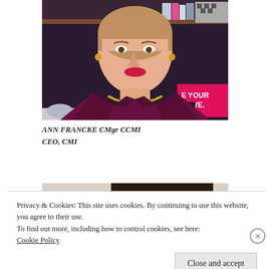[Figure (photo): Professional headshot of Ann Francke, a woman in a dark purple/maroon blazer with a gold chain necklace, smiling, with bookshelves in the background including a sign reading 'E YOUR MOVE.']
ANN FRANCKE CMgr CCMI
CEO, CMI
[Figure (photo): Partial view of a second person's photo, cropped at top of head with dark hair, partially obscured by cookie banner.]
Privacy & Cookies: This site uses cookies. By continuing to use this website, you agree to their use.
To find out more, including how to control cookies, see here:
Cookie Policy
Close and accept